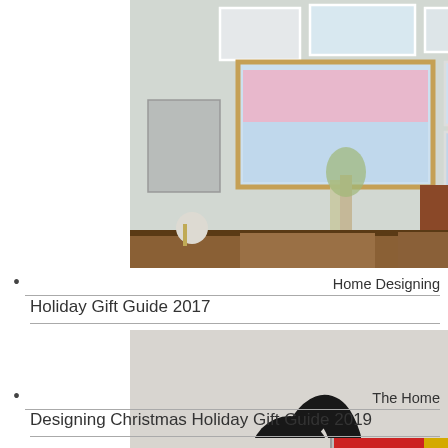[Figure (photo): Interior room with gallery wall of framed landscape photos, wooden sideboard/credenza with decorative objects, plant, and accessories on a gray wall]
Home Designing Holiday Gift Guide 2017
[Figure (photo): Penguin-shaped egg holder/tray with boiled eggs, with prepared deviled eggs on a teal plate in background]
The Home Designing Christmas Holiday Gift Guide 2019
[Figure (photo): Partial view of another image at bottom, with red and yellow elements visible]